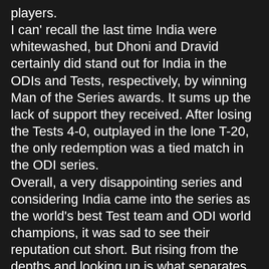players. I can' recall the last time India were whitewashed, but Dhoni and Dravid certainly did stand out for India in the ODIs and Tests, respectively, by winning Man of the Series awards. It sums up the lack of support they received. After losing the Tests 4-0, outplayed in the lone T-20, the only redemption was a tied match in the ODI series. Overall, a very disappointing series and considering India came into the series as the world's best Test team and ODI world champions, it was sad to see their reputation cut short. But rising from the depths and looking up is what separates boys from men. So pick up the pieces and put the jigsaw right again. While it undoubtedly is a long road back to the top, all is not lost. The important aspect is to learn the lessons, and learn them well. Even the great Australian team is undergoing a rebuilding process,